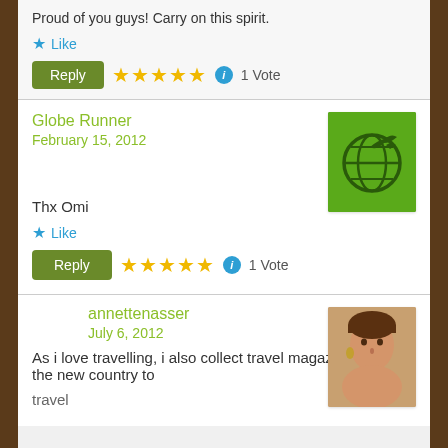Proud of you guys! Carry on this spirit.
★ Like
Reply ★★★★★ ℹ 1 Vote
Globe Runner
February 15, 2012
[Figure (illustration): Green square avatar with globe and plane logo for Globe Runner user]
Thx Omi
★ Like
Reply ★★★★★ ℹ 1 Vote
annettenasser
July 6, 2012
[Figure (photo): Profile photo of a woman (annettenasser)]
As i love travelling, i also collect travel magazine featuring the new country to travel